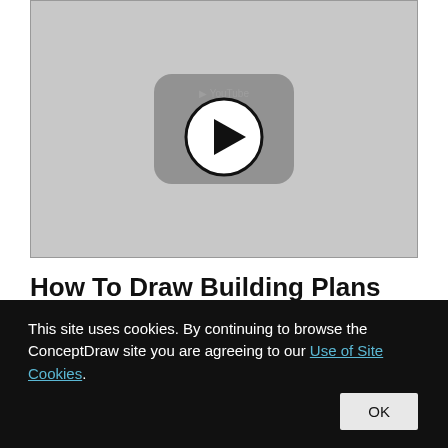[Figure (screenshot): Video thumbnail with a YouTube-style play button icon on a gray background]
How To Draw Building Plans
This site uses cookies. By continuing to browse the ConceptDraw site you are agreeing to our Use of Site Cookies.